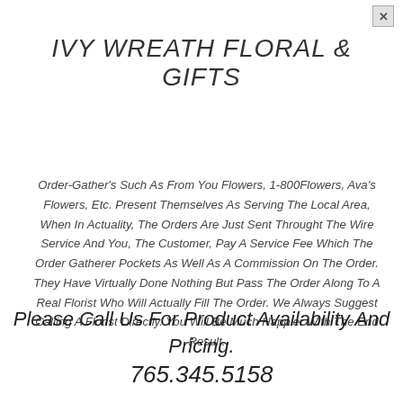IVY WREATH FLORAL & GIFTS
Order-Gather's Such As From You Flowers, 1-800Flowers, Ava's Flowers, Etc. Present Themselves As Serving The Local Area, When In Actuality, The Orders Are Just Sent Throught The Wire Service And You, The Customer, Pay A Service Fee Which The Order Gatherer Pockets As Well As A Commission On The Order. They Have Virtually Done Nothing But Pass The Order Along To A Real Florist Who Will Actually Fill The Order. We Always Suggest Calling A Florist Directly. You Will Be Much Happier With The End Result.
Please Call Us For Product Availability And Pricing.
765.345.5158